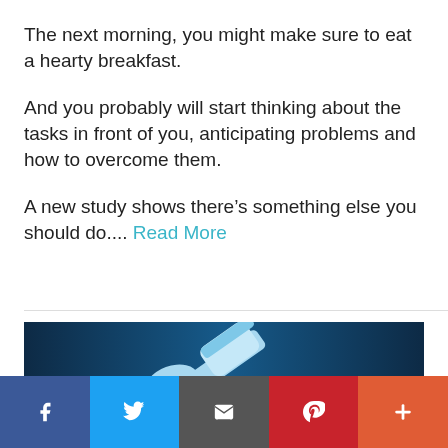The next morning, you might make sure to eat a hearty breakfast.
And you probably will start thinking about the tasks in front of you, anticipating problems and how to overcome them.
A new study shows there’s something else you should do.... Read More
[Figure (photo): Banner image showing a gavel with blue tones, possibly legal related content]
[Figure (infographic): Social media share bar with Facebook, Twitter, Email, Pinterest, and more buttons]